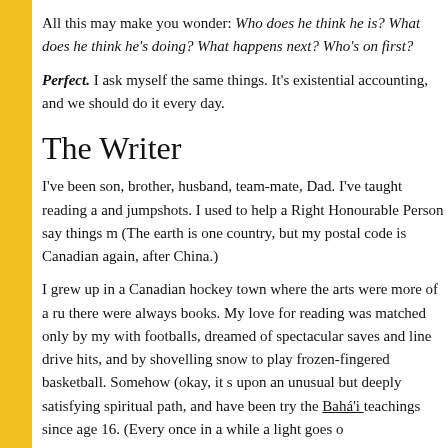All this may make you wonder: Who does he think he is? What does he think he's doing? What happens next? Who's on first?
Perfect. I ask myself the same things. It's existential accounting, and we should do it every day.
The Writer
I've been son, brother, husband, team-mate, Dad. I've taught reading a and jumpshots. I used to help a Right Honourable Person say things m (The earth is one country, but my postal code is Canadian again, after China.)
I grew up in a Canadian hockey town where the arts were more of a ru there were always books. My love for reading was matched only by my with footballs, dreamed of spectacular saves and line drive hits, and by shovelling snow to play frozen-fingered basketball. Somehow (okay, it s upon an unusual but deeply satisfying spiritual path, and have been try the Bahá'í teachings since age 16. (Every once in a while a light goes o